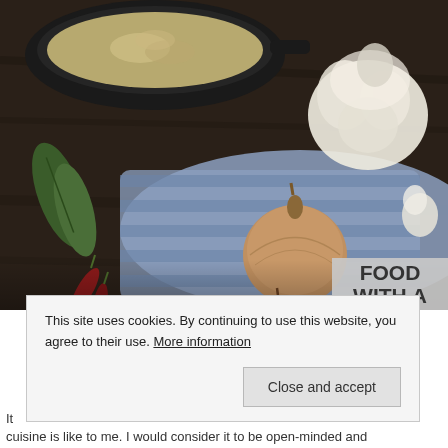[Figure (photo): Food photography showing two onions, a head of garlic, dried chili peppers, bay leaves, and a cast iron skillet with cooked rice or grains, arranged on a blue striped cloth on a dark wooden surface.]
FOOD WITH A
This site uses cookies. By continuing to use this website, you agree to their use. More information
Close and accept
It
cuisine is like to me. I would consider it to be open-minded and